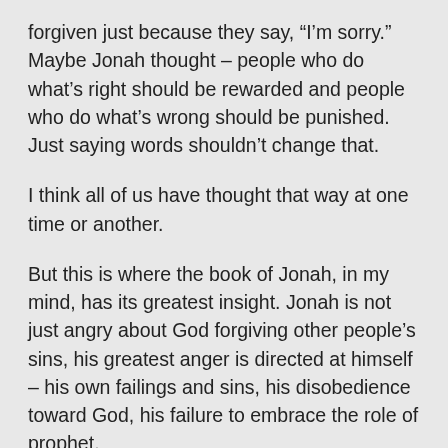forgiven just because they say, “I’m sorry.” Maybe Jonah thought – people who do what’s right should be rewarded and people who do what’s wrong should be punished. Just saying words shouldn’t change that.
I think all of us have thought that way at one time or another.
But this is where the book of Jonah, in my mind, has its greatest insight. Jonah is not just angry about God forgiving other people’s sins, his greatest anger is directed at himself – his own failings and sins, his disobedience toward God, his failure to embrace the role of prophet.
And, isn’t this true of us, too? I’ve noticed that when I get angry at someone, it’s usually because they’ve done something that reminds me of something I don’t like about myself. Don’t most of us reserve our greatest condemnation and our greatest anger for ourselves? That’s what Jonah did. He hated himself for his failings and he thought he deserved to die. He even told God he